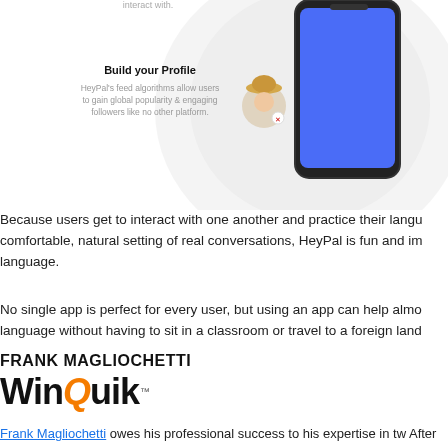[Figure (illustration): App feature illustration showing 'Build your Profile' text with description, an avatar of a woman with hat, a large phone mockup with blue screen, and circular background decorations]
Build your Profile
HeyPal's feed algorithms allow users to gain global popularity & engaging followers like no other platform.
Because users get to interact with one another and practice their language in the comfortable, natural setting of real conversations, HeyPal is fun and immersive for language.
No single app is perfect for every user, but using an app can help almost anyone learn a language without having to sit in a classroom or travel to a foreign land.
FRANK MAGLIOCHETTI
[Figure (logo): WinQuik logo - bold text with orange Q letter]
Frank Magliochetti owes his professional success to his expertise in two distinct fields. After obtaining a BS in pharmacy from Northeastern University, he stay...